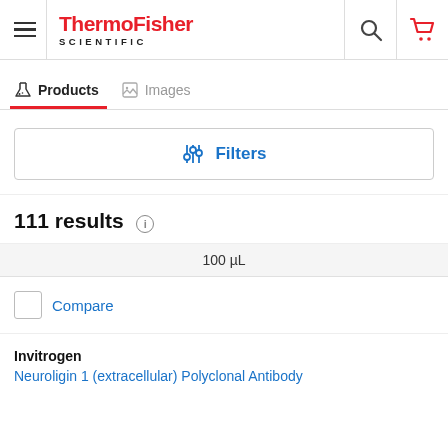[Figure (logo): ThermoFisher Scientific logo with hamburger menu, search and cart icons]
Products  Images
Filters
111 results
100 µL
Compare
Invitrogen
Neuroligin 1 (extracellular) Polyclonal Antibody